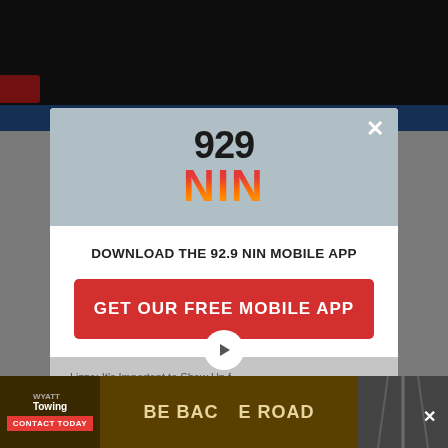[Figure (screenshot): Website background showing dark header bar, red LIVE button, blue navigation stripe, and grey content area]
[Figure (logo): 92.9 NIN radio station modal popup with logo showing '929' in dark text and 'NIN' in red-to-orange gradient, close X button in top right]
DOWNLOAD THE 92.9 NIN MOBILE APP
GET OUR FREE MOBILE APP
Lizzo: It's Important to Show Up f...
Also listen on:  amazon alexa
[Figure (screenshot): Bottom advertisement banner: Wyatt Towing 'BE BACK ON THE ROAD' with CONTACT TODAY button and road image]